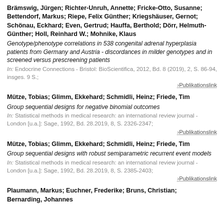Brämswig, Jürgen;  Richter-Unruh, Annette;  Fricke-Otto, Susanne;  Bettendorf, Markus;  Riepe, Felix Günther;  Kriegshäuser, Gernot;  Schönau, Eckhard;  Even, Gertrud;  Hauffa, Berthold;  Dörr, Helmuth-Günther;  Holl, Reinhard W.;  Mohnike, Klaus
Genotype/phenotype correlations in 538 congenital adrenal hyperplasia patients from Germany and Austria - discordances in milder genotypes and in screened versus prescreening patients
In: Endocrine Connections - Bristol: BioScientifica, 2012, Bd. 8 (2019), 2, S. 86-94, insges. 9 S.;
Mütze, Tobias;  Glimm, Ekkehard;  Schmidli, Heinz;  Friede, Tim
Group sequential designs for negative binomial outcomes
In: Statistical methods in medical research: an international review journal - London [u.a.]: Sage, 1992, Bd. 28.2019, 8, S. 2326-2347;
Mütze, Tobias;  Glimm, Ekkehard;  Schmidli, Heinz;  Friede, Tim
Group sequential designs with robust semiparametric recurrent event models
In: Statistical methods in medical research: an international review journal - London [u.a.]: Sage, 1992, Bd. 28.2019, 8, S. 2385-2403;
Plaumann, Markus;  Euchner, Frederike;  Bruns, Christian;  Bernarding, Johannes